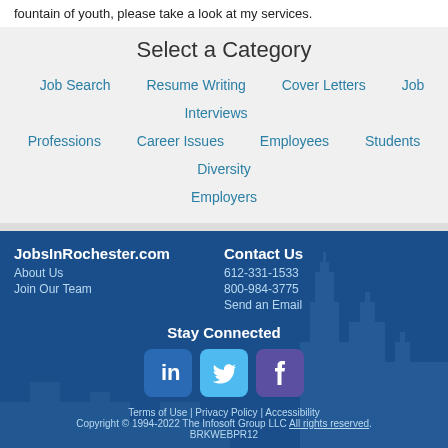fountain of youth, please take a look at my services.
Select a Category
Job Search
Resume Writing
Cover Letters
Job Interviews
Professions
Career Issues
Employees
Students
Diversity
Employers
JobsInRochester.com | About Us | Join Our Team | Contact Us | 612-331-1533 | 800-984-3775 | Send an Email | Stay Connected | Terms of Use | Privacy Policy | Accessibility | Copyright © 1994-2022 The Infosoft Group LLC All rights reserved. BRKWEBPR12